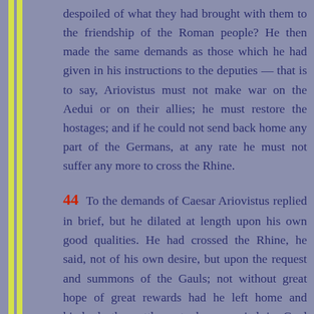despoiled of what they had brought with them to the friendship of the Roman people? He then made the same demands as those which he had given in his instructions to the deputies — that is to say, Ariovistus must not make war on the Aedui or on their allies; he must restore the hostages; and if he could not send back home any part of the Germans, at any rate he must not suffer any more to cross the Rhine.
44 To the demands of Caesar Ariovistus replied in brief, but he dilated at length upon his own good qualities. He had crossed the Rhine, he said, not of his own desire, but upon the request and summons of the Gauls; not without great hope of great rewards had he left home and kindred; the settlements he occupied in Gaul were granted by the